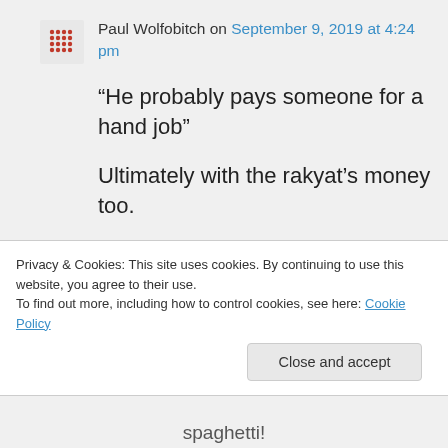Paul Wolfobitch on September 9, 2019 at 4:24 pm
“He probably pays someone for a hand job”

Ultimately with the rakyat’s money too.

It would be another project wasting massive resources all just like like Proton
Privacy & Cookies: This site uses cookies. By continuing to use this website, you agree to their use.
To find out more, including how to control cookies, see here: Cookie Policy
Close and accept
spaghetti!